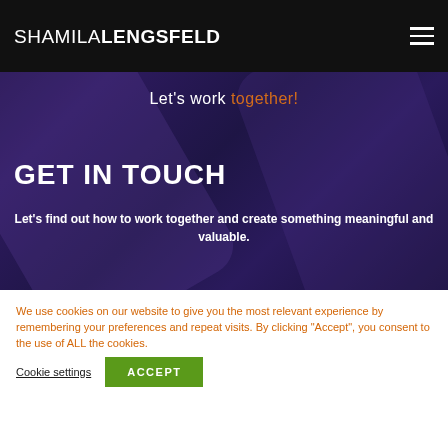SHAMILALENGSFELD
CONTACT
Let's work together!
GET IN TOUCH
Let's find out how to work together and create something meaningful and valuable.
We use cookies on our website to give you the most relevant experience by remembering your preferences and repeat visits. By clicking "Accept", you consent to the use of ALL the cookies.
Cookie settings
ACCEPT